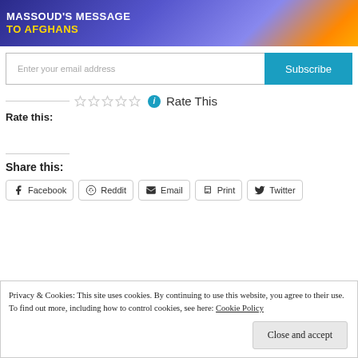[Figure (screenshot): Banner image with text 'MASSOUD'S MESSAGE TO AFGHANS' on a blue/purple gradient background with orange light effect]
Enter your email address
Subscribe
Rate This
Rate this:
Share this:
Facebook  Reddit  Email  Print  Twitter
Privacy & Cookies: This site uses cookies. By continuing to use this website, you agree to their use.
To find out more, including how to control cookies, see here: Cookie Policy
Close and accept